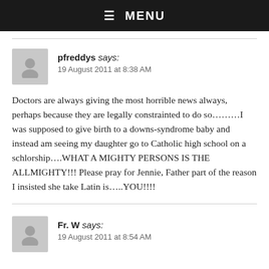☰ MENU
pfreddys says:
19 August 2011 at 8:38 AM
Doctors are always giving the most horrible news always, perhaps because they are legally constrainted to do so………I was supposed to give birth to a downs-syndrome baby and instead am seeing my daughter go to Catholic high school on a schlorship….WHAT A MIGHTY PERSONS IS THE ALLMIGHTY!!! Please pray for Jennie, Father part of the reason I insisted she take Latin is…..YOU!!!!
Fr. W says:
19 August 2011 at 8:54 AM